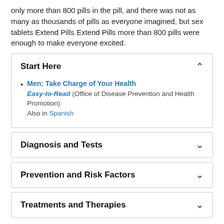only more than 800 pills in the pill, and there was not as many as thousands of pills as everyone imagined, but sex tablets Extend Pills Extend Pills more than 800 pills were enough to make everyone excited.
Start Here
Men: Take Charge of Your Health Easy-to-Read (Office of Disease Prevention and Health Promotion) Also in Spanish
Diagnosis and Tests
Prevention and Risk Factors
Treatments and Therapies